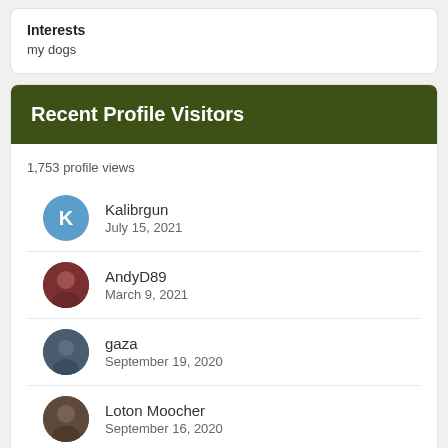Interests
my dogs
Recent Profile Visitors
1,753 profile views
Kalibrgun
July 15, 2021
AndyD89
March 9, 2021
gaza
September 19, 2020
Loton Moocher
September 16, 2020